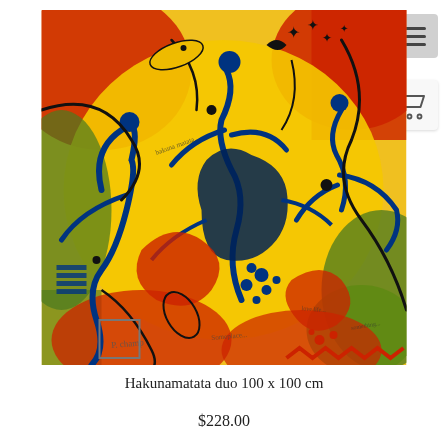[Figure (illustration): Abstract colorful painting titled Hakunamatata duo, featuring vibrant yellows, reds, blues and greens with stylized human figures and organic shapes, handwritten text elements, and dynamic swirling compositions on a yellow background.]
Hakunamatata duo 100 x 100 cm
$228.00